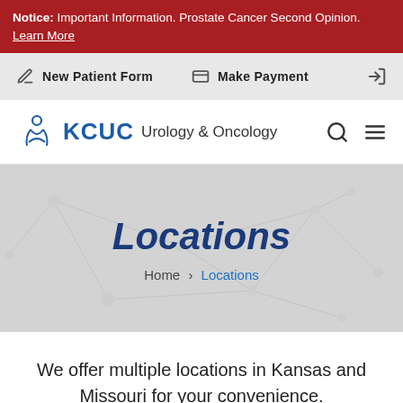Notice: Important Information. Prostate Cancer Second Opinion. Learn More
New Patient Form   Make Payment
[Figure (logo): KCUC Urology & Oncology logo with stylized figure icon, search and menu icons]
Locations
Home > Locations
We offer multiple locations in Kansas and Missouri for your convenience.